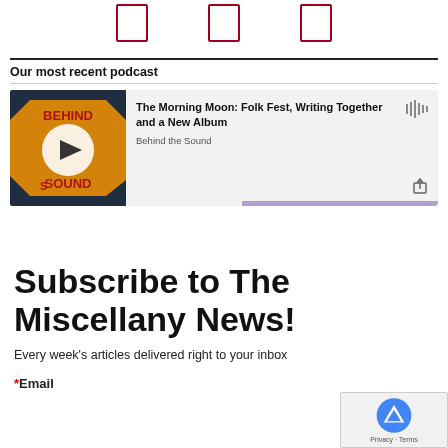[Figure (other): Three dark red rectangle icon boxes]
Our most recent podcast
[Figure (other): Podcast card for 'The Morning Moon: Folk Fest, Writing Together and a New Album' by Behind the Sound, with play button and purple progress bar]
Subscribe to The Miscellany News!
Every week's articles delivered right to your inbox
*Email